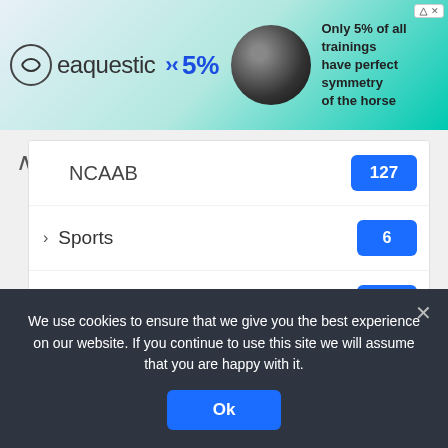[Figure (infographic): Equestic brand advertisement banner showing logo, 5% text with arrows icon, wireless earbuds/headphones image, and text: 'Only 5% of all trainings have perfect symmetry of the horse']
NCAAB 127
Sports 6
Tennis 5
Football 3
Players 2
We use cookies to ensure that we give you the best experience on our website. If you continue to use this site we will assume that you are happy with it.